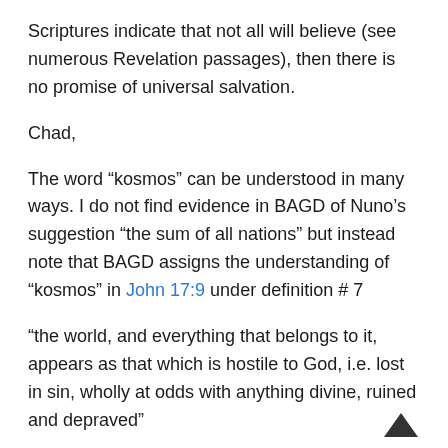Scriptures indicate that not all will believe (see numerous Revelation passages), then there is no promise of universal salvation.
Chad,
The word “kosmos” can be understood in many ways. I do not find evidence in BAGD of Nuno’s suggestion “the sum of all nations” but instead note that BAGD assigns the understanding of “kosmos” in John 17:9 under definition # 7
“the world, and everything that belongs to it, appears as that which is hostile to God, i.e. lost in sin, wholly at odds with anything divine, ruined and depraved”
Disciples of Jesus are seen as being no longer “of the world”; they are “in the world” but not